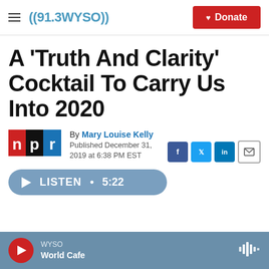((91.3 WYSO)) | Donate
A 'Truth And Clarity' Cocktail To Carry Us Into 2020
[Figure (logo): NPR logo - red, black, and blue squares with 'n', 'p', 'r' letters]
By Mary Louise Kelly
Published December 31, 2019 at 6:38 PM EST
[Figure (other): Social share buttons: Facebook, Twitter, LinkedIn, Email]
LISTEN • 5:22
WYSO World Cafe